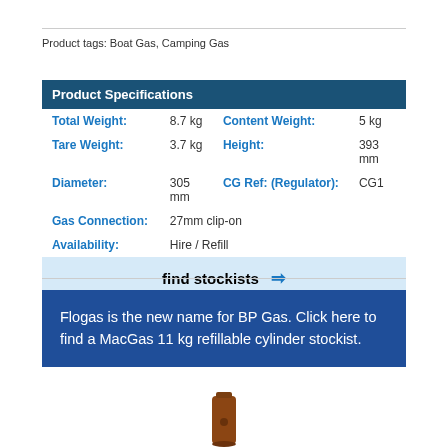Product tags: Boat Gas, Camping Gas
| Product Specifications |
| --- |
| Total Weight: | 8.7 kg | Content Weight: | 5 kg |
| Tare Weight: | 3.7 kg | Height: | 393 mm |
| Diameter: | 305 mm | CG Ref: (Regulator): | CG1 |
| Gas Connection: | 27mm clip-on |  |  |
| Availability: | Hire / Refill |  |  |
| find stockists → |  |  |  |
Flogas is the new name for BP Gas. Click here to find a MacGas 11 kg refillable cylinder stockist.
[Figure (photo): Brown gas cylinder bottle, partially visible at bottom of image]